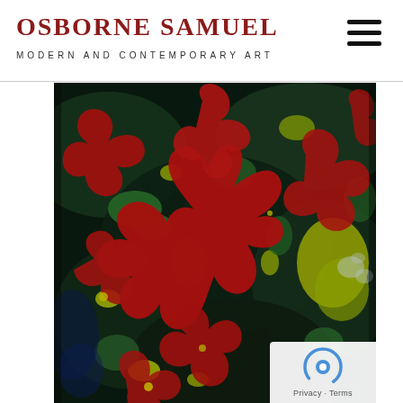OSBORNE SAMUEL
MODERN AND CONTEMPORARY ART
[Figure (illustration): Abstract expressionist painting with swirling red, green, yellow, and black fluid paint forms suggesting human or organic figures]
Privacy · Terms